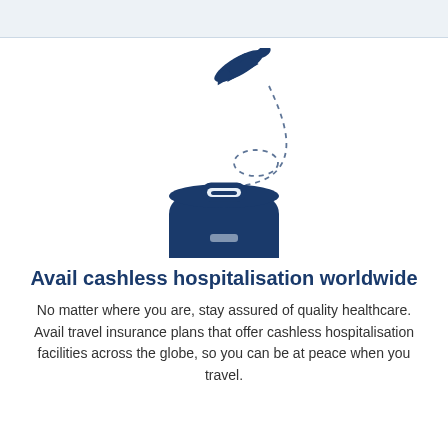[Figure (illustration): Dark navy blue airplane silhouette flying upward with a dashed curved trail looping down to a dark navy blue suitcase/luggage silhouette below]
Avail cashless hospitalisation worldwide
No matter where you are, stay assured of quality healthcare. Avail travel insurance plans that offer cashless hospitalisation facilities across the globe, so you can be at peace when you travel.